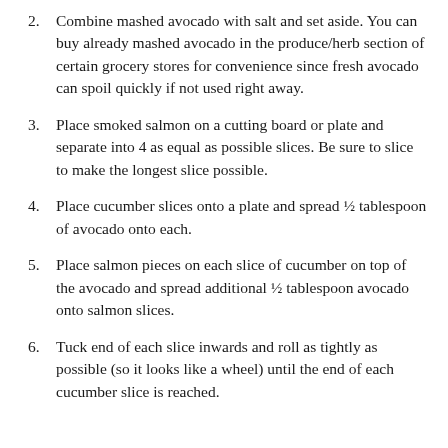2. Combine mashed avocado with salt and set aside. You can buy already mashed avocado in the produce/herb section of certain grocery stores for convenience since fresh avocado can spoil quickly if not used right away.
3. Place smoked salmon on a cutting board or plate and separate into 4 as equal as possible slices. Be sure to slice to make the longest slice possible.
4. Place cucumber slices onto a plate and spread ½ tablespoon of avocado onto each.
5. Place salmon pieces on each slice of cucumber on top of the avocado and spread additional ½ tablespoon avocado onto salmon slices.
6. Tuck end of each slice inwards and roll as tightly as possible (so it looks like a wheel) until the end of each cucumber slice is reached.